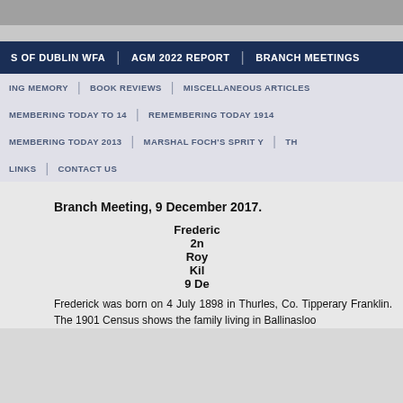S OF DUBLIN WFA | AGM 2022 REPORT | BRANCH MEETINGS
ING MEMORY | BOOK REVIEWS | MISCELLANEOUS ARTICLES
MEMBERING TODAY TO 14 | REMEMBERING TODAY 1914
MEMBERING TODAY 2013 | MARSHAL FOCH'S SPRIT Y | TH
LINKS | CONTACT US
Branch Meeting, 9 December 2017.
Frederick
2n
Roy
Kil
9 De
Frederick was born on 4 July 1898 in Thurles, Co. Tipperary Franklin. The 1901 Census shows the family living in Ballinasloo